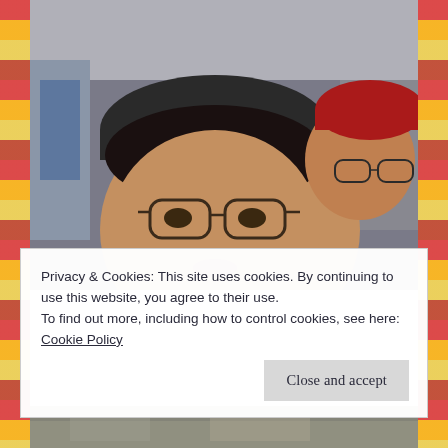[Figure (photo): A selfie photo of a woman in the foreground wearing glasses and a dark cap, and a man behind her wearing a red Hurley cap and glasses, taken indoors.]
Privacy & Cookies: This site uses cookies. By continuing to use this website, you agree to their use.
To find out more, including how to control cookies, see here: Cookie Policy
[Figure (photo): Partial bottom photo, appears to show an outdoor scene, only partially visible.]